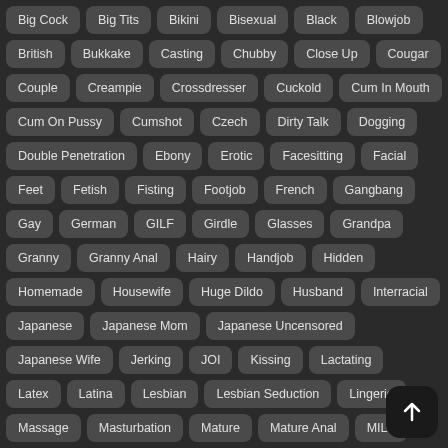Big Cock
Big Tits
Bikini
Bisexual
Black
Blowjob
British
Bukkake
Casting
Chubby
Close Up
Cougar
Couple
Creampie
Crossdresser
Cuckold
Cum In Mouth
Cum On Pussy
Cumshot
Czech
Dirty Talk
Dogging
Double Penetration
Ebony
Erotic
Facesitting
Facial
Feet
Fetish
Fisting
Footjob
French
Gangbang
Gay
German
GILF
Girdle
Glasses
Grandpa
Granny
Granny Anal
Hairy
Handjob
Hidden
Homemade
Housewife
Huge Dildo
Husband
Interracial
Japanese
Japanese Mom
Japanese Uncensored
Japanese Wife
Jerking
JOI
Kissing
Lactating
Latex
Latina
Lesbian
Lesbian Seduction
Lingerie
Massage
Masturbation
Mature
Mature Anal
MILF
Missionary
MMF
Mom
Natural
Neighbor
Nylon
Old Man
Orgasm
Outdoor
Panties
Pantyhose
PAWG
Pissing